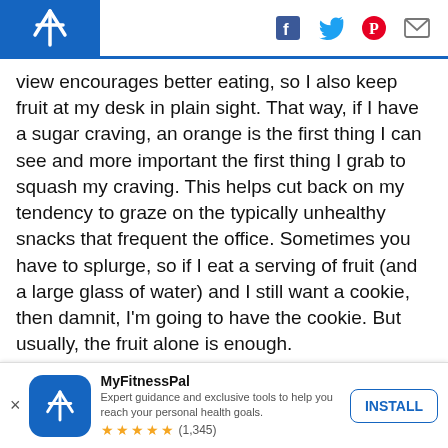MyFitnessPal header with logo and social icons (Facebook, Twitter, Pinterest, Mail)
view encourages better eating, so I also keep fruit at my desk in plain sight. That way, if I have a sugar craving, an orange is the first thing I can see and more important the first thing I grab to squash my craving. This helps cut back on my tendency to graze on the typically unhealthy snacks that frequent the office. Sometimes you have to splurge, so if I eat a serving of fruit (and a large glass of water) and I still want a cookie, then damnit, I'm going to have the cookie. But usually, the fruit alone is enough.
[Figure (other): MyFitnessPal app install banner with icon, app name, description, star rating (1,345), and INSTALL button]